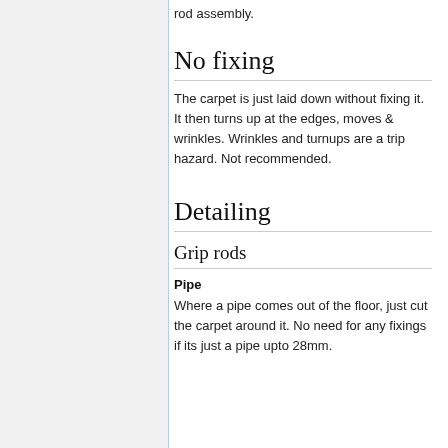rod assembly.
No fixing
The carpet is just laid down without fixing it. It then turns up at the edges, moves & wrinkles. Wrinkles and turnups are a trip hazard. Not recommended.
Detailing
Grip rods
Pipe
Where a pipe comes out of the floor, just cut the carpet around it. No need for any fixings if its just a pipe upto 28mm.